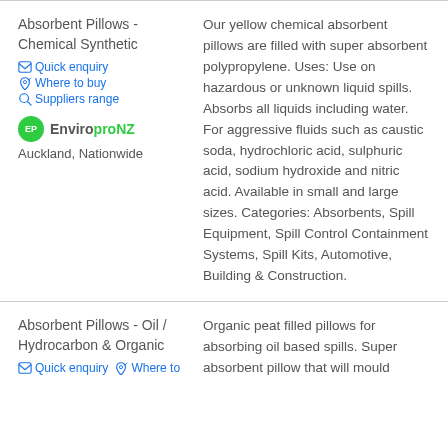Absorbent Pillows - Chemical Synthetic
Quick enquiry   Where to buy   Suppliers range
EnviroproNZ
Auckland, Nationwide
Our yellow chemical absorbent pillows are filled with super absorbent polypropylene. Uses: Use on hazardous or unknown liquid spills. Absorbs all liquids including water. For aggressive fluids such as caustic soda, hydrochloric acid, sulphuric acid, sodium hydroxide and nitric acid. Available in small and large sizes. Categories: Absorbents, Spill Equipment, Spill Control Containment Systems, Spill Kits, Automotive, Building & Construction.
Absorbent Pillows - Oil / Hydrocarbon & Organic
Quick enquiry   Where to
Organic peat filled pillows for absorbing oil based spills. Super absorbent pillow that will mould